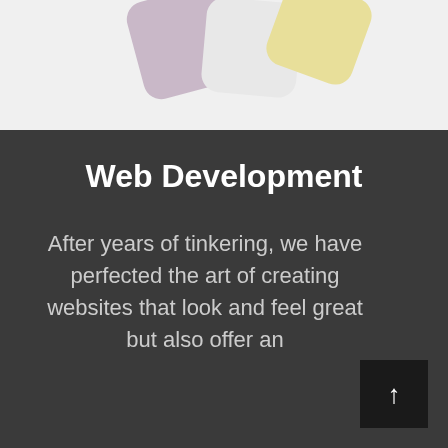[Figure (illustration): Decorative colored rounded-square shapes (purple, white/grey, yellow) partially visible at the top of the page on a light grey background.]
Web Development
After years of tinkering, we have perfected the art of creating websites that look and feel great but also offer an